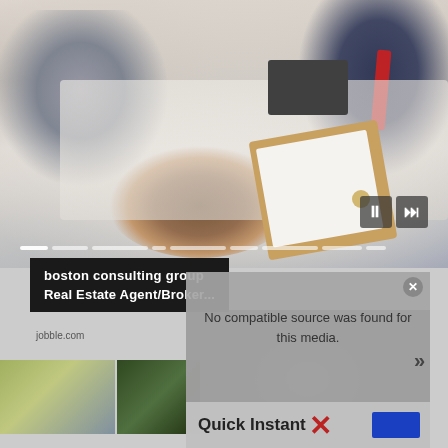[Figure (screenshot): Website screenshot showing a stock photo of people (two clients and a real estate agent/broker) sitting at a desk reviewing documents, with video player controls (pause and next buttons) and a progress bar at the bottom of the image.]
boston consulting group
Real Estate Agent/Broker...
jobble.com
No compatible source was found for this media.
Quick Instant X